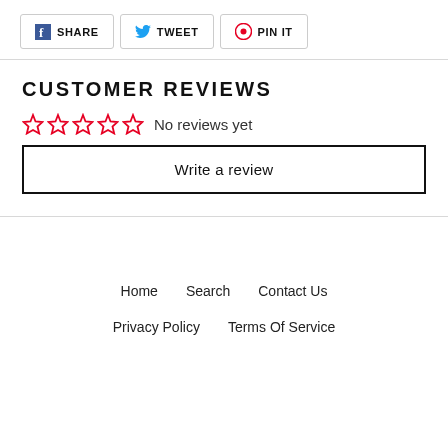[Figure (other): Social share buttons: SHARE (Facebook), TWEET (Twitter), PIN IT (Pinterest)]
CUSTOMER REVIEWS
☆☆☆☆☆  No reviews yet
Write a review
Home   Search   Contact Us
Privacy Policy   Terms Of Service